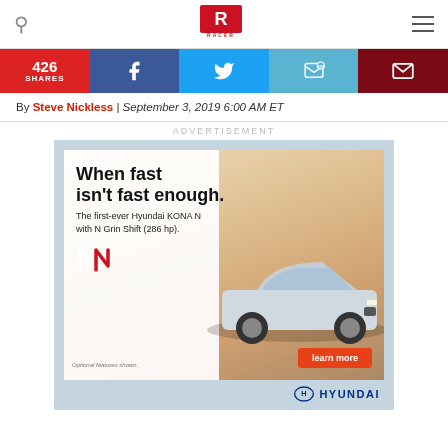RACER — navigation header with search, logo, and menu
[Figure (infographic): Social share bar: 426 SHARES (red), Facebook (blue), Twitter (light blue), SMS (teal), Email (dark red)]
By Steve Nickless | September 3, 2019 6:00 AM ET
ADVERTISEMENT
[Figure (photo): Hyundai KONA N advertisement: 'When fast isn't fast enough. The first-ever Hyundai KONA N with N Grin Shift (286 hp).' with car image, N logo, learn more button, 'Optional features shown.' disclaimer, and Hyundai logo on light blue background.]